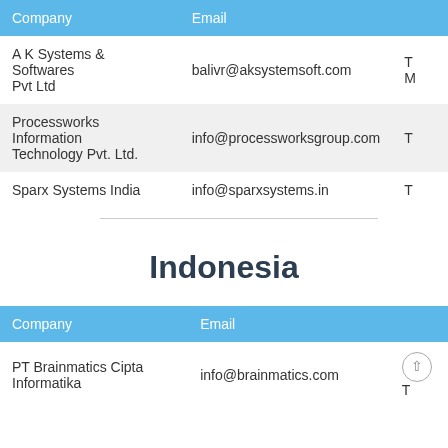| Company | Email |  |
| --- | --- | --- |
| A K Systems & Softwares Pvt Ltd | balivr@aksystemsoft.com | T M |
| Processworks Information Technology Pvt. Ltd. | info@processworksgroup.com | T |
| Sparx Systems India | info@sparxsystems.in | T |
Indonesia
| Company | Email |  |
| --- | --- | --- |
| PT Brainmatics Cipta Informatika | info@brainmatics.com | T |